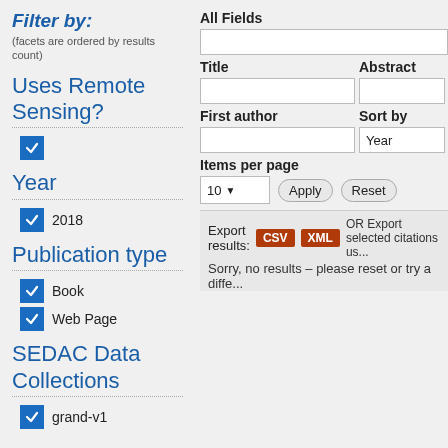Filter by: (facets are ordered by results count)
Uses Remote Sensing?
☑ (checked checkbox)
Year
☑ 2018
Publication type
☑ Book
☑ Web Page
SEDAC Data Collections
☑ grand-v1
All Fields
Title
Abstract
First author
Sort by
Items per page
10
Apply
Reset
Export results: CSV XML  OR Export selected citations us...
Sorry, no results – please reset or try a diffe...